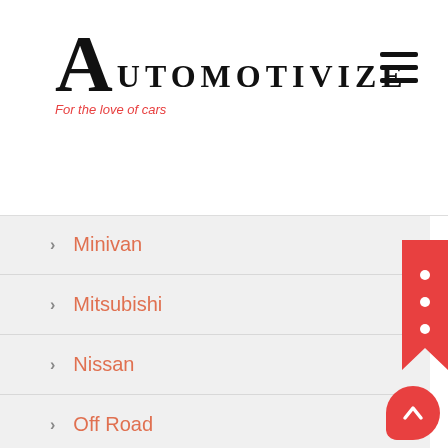[Figure (logo): Automotivize logo with large decorative A and serif text, tagline 'For the love of cars' in red italic]
Minivan
Mitsubishi
Nissan
Off Road
Porsche
Racing
Ram